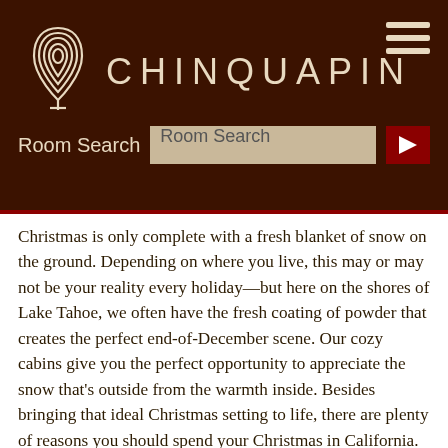CHINQUAPIN
Room Search
Christmas is only complete with a fresh blanket of snow on the ground. Depending on where you live, this may or may not be your reality every holiday—but here on the shores of Lake Tahoe, we often have the fresh coating of powder that creates the perfect end-of-December scene. Our cozy cabins give you the perfect opportunity to appreciate the snow that's outside from the warmth inside. Besides bringing that ideal Christmas setting to life, there are plenty of reasons you should spend your Christmas in California. Let our team here at Chinquapin give you a few other reasons why you should book holiday rentals in Tahoe City to celebrate.
Enjoy Christmas in California's Beautiful Scenery